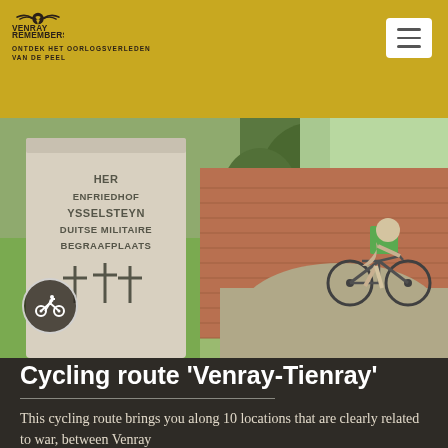Venray Remembers — Ontdek het oorlogsverleden van de Peel
[Figure (photo): Photo of a memorial stone for Ysselsteyn German Military Cemetery (KRIEGSFRIEDHOF YSSELSTEYN DUITSE MILITAIRE BEGRAAFPLAATS) with carved crosses, and an elderly person cycling past a brick wall in the background. Overlaid with a bicycle rider icon in a circle.]
Cycling route 'Venray-Tienray'
This cycling route brings you along 10 locations that are clearly related to war, between Venray and ...